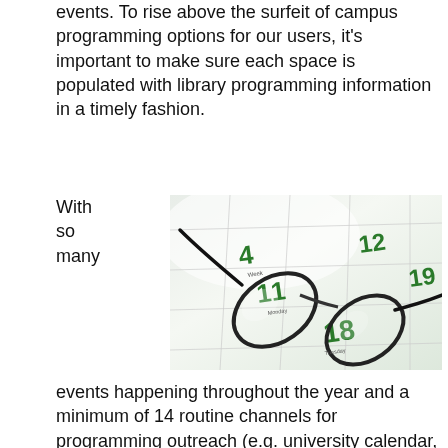events. To rise above the surfeit of campus programming options for our users, it's important to make sure each space is populated with library programming information in a timely fashion.
With so many
[Figure (photo): A photo of reading glasses resting on an open calendar showing dates 4, 11, 12, 18, 19 in green numbers.]
events happening throughout the year and a minimum of 14 routine channels for programming outreach (e.g. university calendar, faculty intranet, Facebook event, library homepage, print flier, email invite, etc.), I have found that setting artificial deadlines for sending